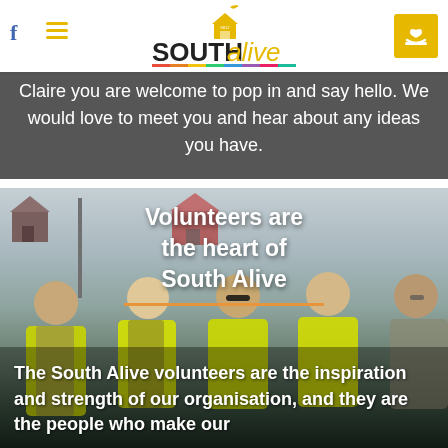South Alive — navigation bar with Facebook link, hamburger menu, South Alive logo, and donate button
Claire you are welcome to pop in and say hello. We would love to meet you and hear about any ideas you have.
[Figure (photo): Group of five volunteers in high-visibility yellow vests standing outdoors on a suburban street with houses in the background]
Volunteers are the heart of South Alive
The South Alive volunteers are the inspiration and strength of our organisation, and they are the people who make our